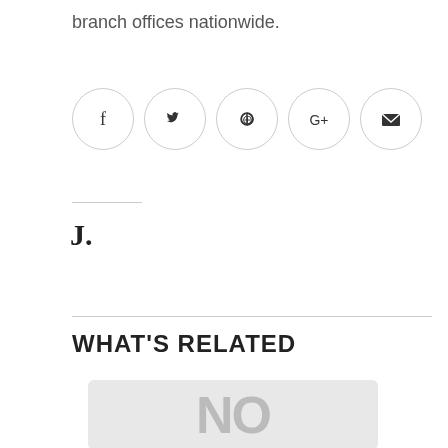branch offices nationwide.
[Figure (infographic): Five social sharing icon circles: Facebook (f), Twitter (bird), Pinterest (p), Google+ (G+), Email (envelope)]
J.
WHAT'S RELATED
[Figure (photo): Partially visible image showing large letters 'NO' in gray on a light background]